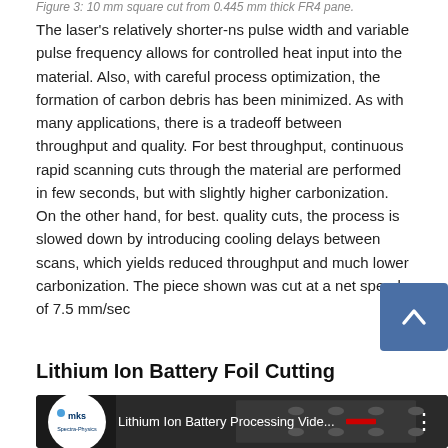Figure 3: 10 mm square cut from 0.445 mm thick FR4 pane.
The laser's relatively shorter-ns pulse width and variable pulse frequency allows for controlled heat input into the material. Also, with careful process optimization, the formation of carbon debris has been minimized. As with many applications, there is a tradeoff between throughput and quality. For best throughput, continuous rapid scanning cuts through the material are performed in few seconds, but with slightly higher carbonization. On the other hand, for best. quality cuts, the process is slowed down by introducing cooling delays between scans, which yields reduced throughput and much lower carbonization. The piece shown was cut at a net speed of 7.5 mm/sec
Lithium Ion Battery Foil Cutting
[Figure (screenshot): YouTube video thumbnail for 'Lithium Ion Battery Processing Vide...' with MKS Spectra-Physics logo on dark background showing laser cutting equipment]